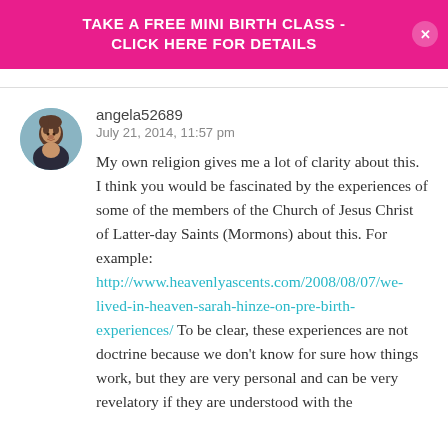TAKE A FREE MINI BIRTH CLASS - CLICK HERE FOR DETAILS
angela52689
July 21, 2014, 11:57 pm
My own religion gives me a lot of clarity about this. I think you would be fascinated by the experiences of some of the members of the Church of Jesus Christ of Latter-day Saints (Mormons) about this. For example:
http://www.heavenlyascents.com/2008/08/07/we-lived-in-heaven-sarah-hinze-on-pre-birth-experiences/ To be clear, these experiences are not doctrine because we don't know for sure how things work, but they are very personal and can be very revelatory if they are understood with the